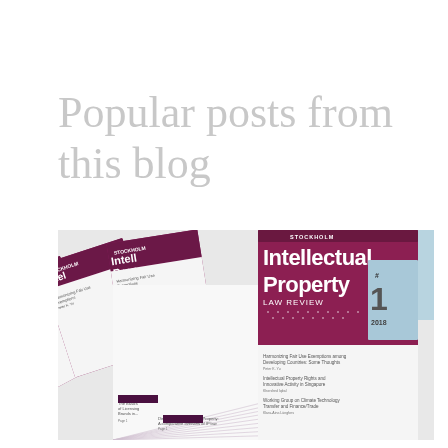Popular posts from this blog
[Figure (photo): Fan-spread arrangement of multiple issues of Stockholm Intellectual Property Law Review journal, with the most prominent cover showing 'Stockholm Intellectual Property Law Review #1 2018' in burgundy/dark red and white text. Multiple issues are fanned out showing their white interior pages beneath each successive cover.]